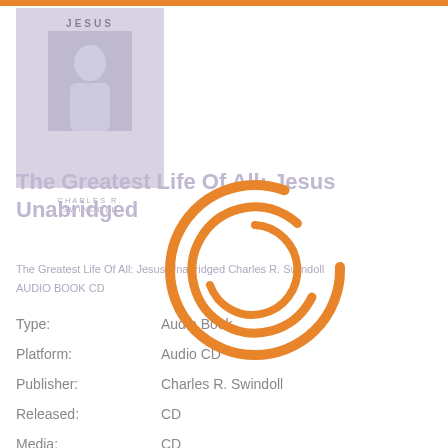[Figure (illustration): Book cover image for 'Jesus' by Charles R. Swindoll with purple/lavender background and figure illustration]
The Greatest Life Of All: Jesus Unabridged
The Greatest Life Of All: Jesus Unabridged Charles R. Swindoll AUDIO BOOK CD
| Field | Value |
| --- | --- |
| Type: | Audio Book |
| Platform: | Audio CD |
| Publisher: | Charles R. Swindoll |
| Released: | CD |
| Media: | CD |
[Figure (infographic): Orange circular loading/spinner graphic overlay in the center of the page]